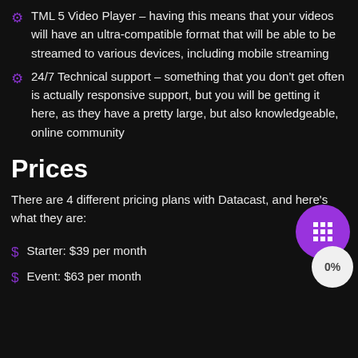TML 5 Video Player – having this means that your videos will have an ultra-compatible format that will be able to be streamed to various devices, including mobile streaming
24/7 Technical support – something that you don't get often is actually responsive support, but you will be getting it here, as they have a pretty large, but also knowledgeable, online community
Prices
There are 4 different pricing plans with Datacast, and here's what they are:
Starter: $39 per month
Event: $63 per month